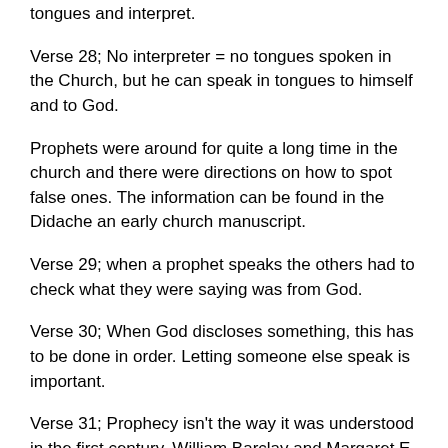tongues and interpret.
Verse 28; No interpreter = no tongues spoken in the Church, but he can speak in tongues to himself and to God.
Prophets were around for quite a long time in the church and there were directions on how to spot false ones. The information can be found in the Didache an early church manuscript.
Verse 29; when a prophet speaks the others had to check what they were saying was from God.
Verse 30; When God discloses something, this has to be done in order. Letting someone else speak is important.
Verse 31; Prophecy isn't the way it was understood in the first century. William Barclay and Margaret E Thrall make